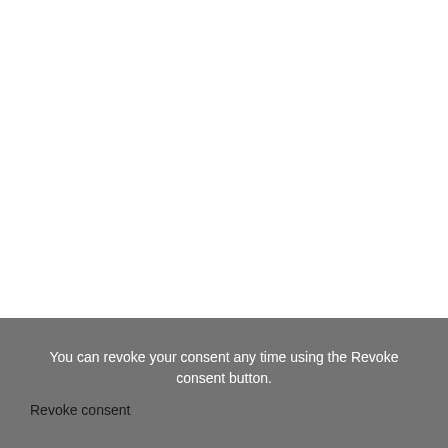Download TPain – Oblivion
You can revoke your consent any time using the Revoke consent button.
Revoke consent